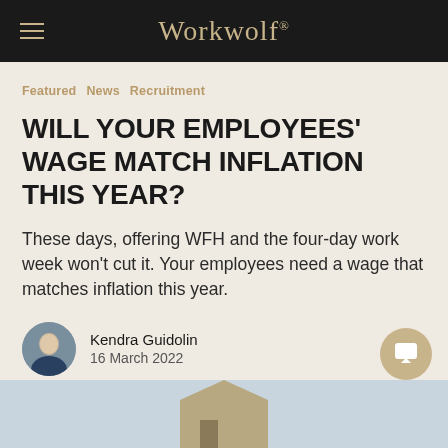Workwolf
Featured  News  Recruitment
WILL YOUR EMPLOYEES' WAGE MATCH INFLATION THIS YEAR?
These days, offering WFH and the four-day work week won't cut it. Your employees need a wage that matches inflation this year.
Kendra Guidolin
16 March 2022
[Figure (photo): Bottom partial image of what appears to be a house or building, light blue-grey background]